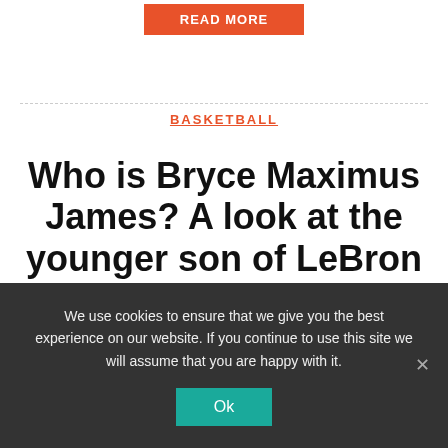[Figure (other): Orange 'READ MORE' button at top center of page]
BASKETBALL
Who is Bryce Maximus James? A look at the younger son of LeBron
We use cookies to ensure that we give you the best experience on our website. If you continue to use this site we will assume that you are happy with it.